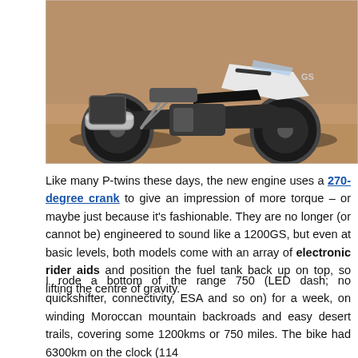[Figure (photo): A BMW GS motorcycle (white/black) parked on a dusty/sandy terrain in what appears to be Morocco. The bike has aftermarket exhaust, crash bars, and is photographed from the left rear quarter angle.]
Like many P-twins these days, the new engine uses a 270-degree crank to give an impression of more torque – or maybe just because it's fashionable. They are no longer (or cannot be) engineered to sound like a 1200GS, but even at basic levels, both models come with an array of electronic rider aids and position the fuel tank back up on top, so lifting the centre of gravity.
I rode a bottom of the range 750 (LED dash; no quickshifter, connectivity, ESA and so on) for a week, on winding Moroccan mountain backroads and easy desert trails, covering some 1200kms or 750 miles. The bike had 6300km on the clock (114